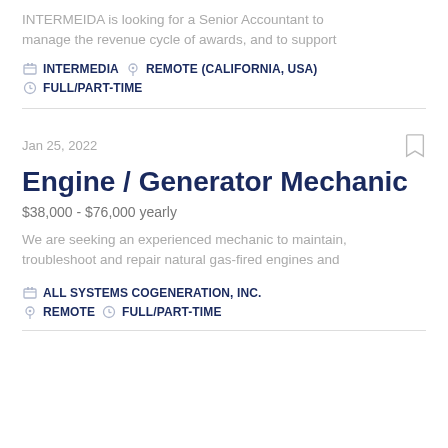INTERMEIDA is looking for a Senior Accountant to manage the revenue cycle of awards, and to support
INTERMEDIA  REMOTE (CALIFORNIA, USA)  FULL/PART-TIME
Jan 25, 2022
Engine / Generator Mechanic
$38,000 - $76,000 yearly
We are seeking an experienced mechanic to maintain, troubleshoot and repair natural gas-fired engines and
ALL SYSTEMS COGENERATION, INC.  REMOTE  FULL/PART-TIME